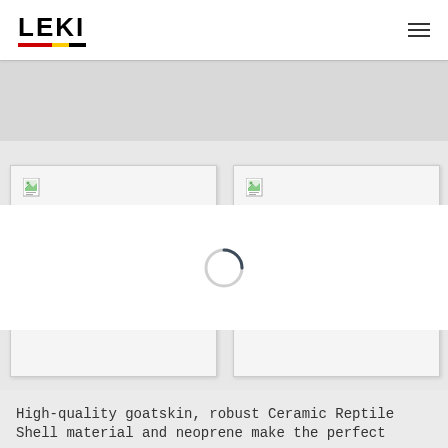LEKI
[Figure (screenshot): Gray placeholder band below navigation header, indicating a partially loaded product page]
[Figure (screenshot): Two product image cards side by side with broken image icons, showing failed image loads]
[Figure (screenshot): White loading overlay with circular spinner (dark arc) centered on the page]
High-quality goatskin, robust Ceramic Reptile Shell material and neoprene make the perfect